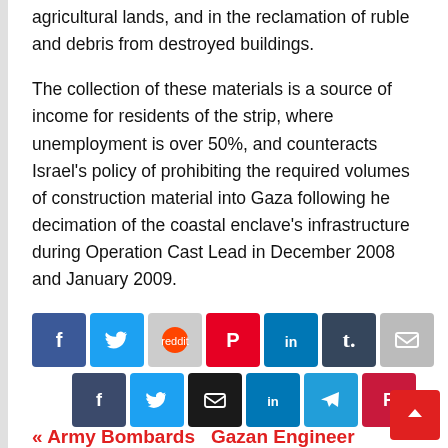agricultural lands, and in the reclamation of ruble and debris from destroyed buildings.
The collection of these materials is a source of income for residents of the strip, where unemployment is over 50%, and counteracts Israel’s policy of prohibiting the required volumes of construction material into Gaza following he decimation of the coastal enclave’s infrastructure during Operation Cast Lead in December 2008 and January 2009.
[Figure (other): Social media share buttons row 1: Facebook, Twitter, Reddit, Pinterest, LinkedIn, Tumblr, Email]
[Figure (other): Social media share buttons row 2: Facebook, Twitter, Email, LinkedIn, Telegram, Pinterest]
« Army Bombards   Gazan Engineer